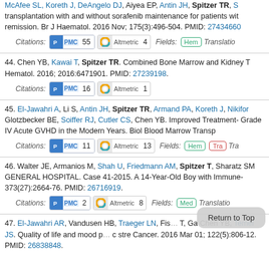McAfee SL, Koreth J, DeAngelo DJ, Aiyea EP, Antin JH, Spitzer TR, S... transplantation with and without sorafenib maintenance for patients with... remission. Br J Haematol. 2016 Nov; 175(3):496-504. PMID: 27434660
Citations: PMC 55 Altmetric 4 Fields: Hem Translation...
44. Chen YB, Kawai T, Spitzer TR. Combined Bone Marrow and Kidney T... Hematol. 2016; 2016:6471901. PMID: 27239198.
Citations: PMC 16 Altmetric 1
45. El-Jawahri A, Li S, Antin JH, Spitzer TR, Armand PA, Koreth J, Nikifor... Glotzbecker BE, Soiffer RJ, Cutler CS, Chen YB. Improved Treatment-... Grade IV Acute GVHD in the Modern Years. Biol Blood Marrow Transp...
Citations: PMC 11 Altmetric 13 Fields: Hem Tra Tra...
46. Walter JE, Armanios M, Shah U, Friedmann AM, Spitzer T, Sharatz SM... GENERAL HOSPITAL. Case 41-2015. A 14-Year-Old Boy with Immune-... 373(27):2664-76. PMID: 26716919.
Citations: PMC 2 Altmetric 8 Fields: Med Translation...
47. El-Jawahri AR, Vandusen HB, Traeger LN, Fis... T, Ga... Chen YB, Temel JS. Quality of life and mood p... c stre... Cancer. 2016 Mar 01; 122(5):806-12. PMID: 26838848.